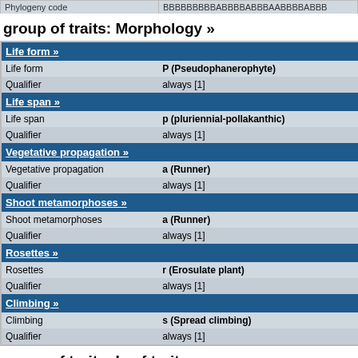| Phylogeny code | BBBBBBBBBABBBBABBBAABBBBABBBB... |
| --- | --- |
group of traits: Morphology »
| Life form » |  |
| --- | --- |
| Life form | P (Pseudophanerophyte) |
| Qualifier | always [1] |
| Life span » |  |
| Life span | p (pluriennial-pollakanthic) |
| Qualifier | always [1] |
| Vegetative propagation » |  |
| Vegetative propagation | a (Runner) |
| Qualifier | always [1] |
| Shoot metamorphoses » |  |
| Shoot metamorphoses | a (Runner) |
| Qualifier | always [1] |
| Rosettes » |  |
| Rosettes | r (Erosulate plant) |
| Qualifier | always [1] |
| Climbing » |  |
| Climbing | s (Spread climbing) |
| Qualifier | always [1] |
group of traits: Leaf traits »
| Leaf anatomy » |  |
| --- | --- |
| Leaf anatomy | m (mesomorphic) |
| Leaf form » |  |